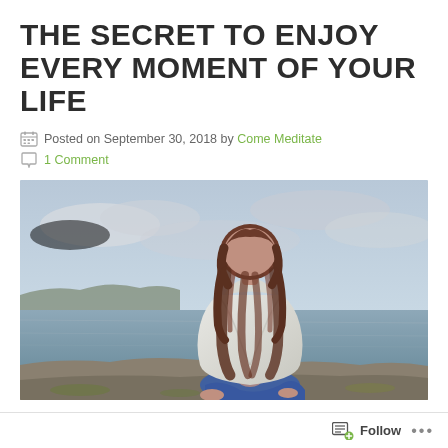THE SECRET TO ENJOY EVERY MOMENT OF YOUR LIFE
Posted on September 30, 2018 by Come Meditate
1 Comment
[Figure (photo): A woman with long brown hair sitting cross-legged in a meditation pose on rocky ground by the ocean, wearing a light grey hoodie jacket and blue jeans, viewed from behind, with a cloudy grey sky and sea in the background.]
Follow